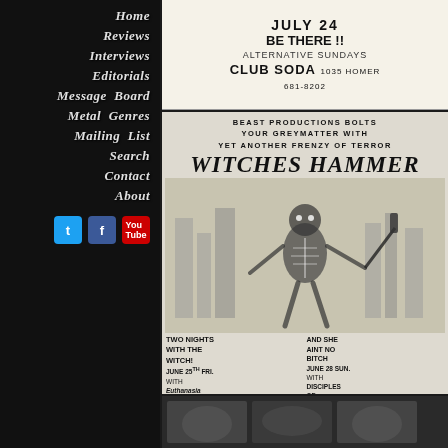Home
Reviews
Interviews
Editorials
Message Board
Metal Genres
Mailing List
Search
Contact
About
[Figure (illustration): Concert flyer for Club Soda - JULY 24 BE THERE!! ALTERNATIVE SUNDAYS. CLUB SODA 1035 HOMER 681-8202]
[Figure (illustration): BEAST PRODUCTIONS BOLTS YOUR GREYMATTER WITH YET ANOTHER FRENZY OF TERROR - WITCHES HAMMER concert poster with horror art. TWO NIGHTS WITH THE WITCH! JUNE 25 FRI. with Euthanasia and Cadillac of Worms AT THE PLAZA BALLROOM NO MINORS $4.00. AND SHE AINT NO BITCH. JUNE 28 SUN. with Disciples of Power AND URINE TROUBLE AT THE RUMPUS PUB ALL AGES $5.00]
[Figure (photo): Black and white photo at bottom of page]